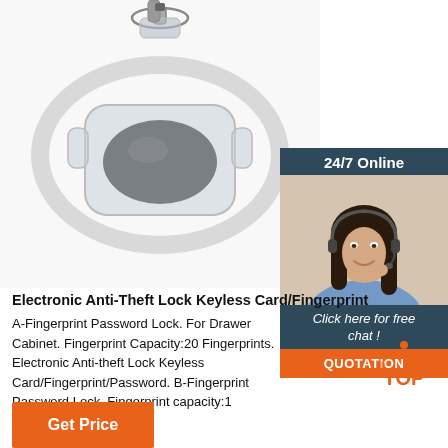[Figure (photo): Electronic Anti-Theft Lock Keyless Card/Fingerprint product photo showing a transparent wristband-style fingerprint lock device with a dark oval fingerprint sensor pad, on white background]
[Figure (photo): 24/7 Online chat support sidebar with a female customer service agent wearing a headset, smiling, with dark hair]
Click here for free chat !
QUOTATION
Electronic Anti-Theft Lock Keyless Card/Fingerprint
A-Fingerprint Password Lock. For Drawer Cabinet. Fingerprint Capacity:20 Fingerprints. Electronic Anti-theft Lock Keyless Card/Fingerprint/Password. B-Fingerprint Password Lock. Fingerprint capacity:1 administrator, 50 users.
[Figure (logo): TOP button icon with orange dots forming an upward arrow above the text TOP in orange]
Get Price